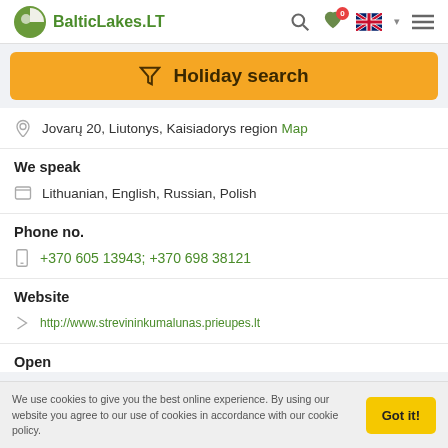BalticLakes.LT
Holiday search
Jovarų 20, Liutonys, Kaisiadorys region Map
We speak
Lithuanian, English, Russian, Polish
Phone no.
+370 605 13943; +370 698 38121
Website
http://www.strevininkumalunas.prieupes.lt
Open
We use cookies to give you the best online experience. By using our website you agree to our use of cookies in accordance with our cookie policy.